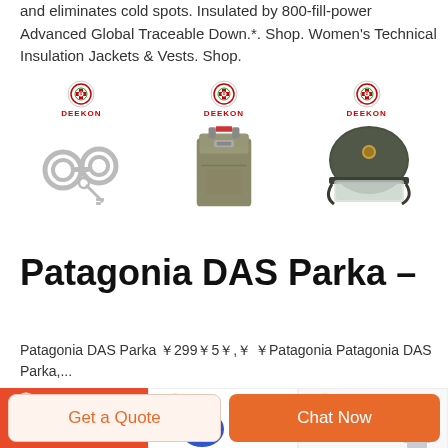and eliminates cold spots. Insulated by 800-fill-power Advanced Global Traceable Down.*. Shop. Women's Technical Insulation Jackets & Vests. Shop.
[Figure (photo): Three product images from DEEKON brand: handcuffs with keys, an olive/khaki military pouch/bag, and a dark military riot helmet with visor.]
Patagonia DAS Parka –
Patagonia DAS Parka ￥299￥5￥,￥ ￥Patagonia Patagonia DAS Parka,...
[Figure (photo): Three product images from DEEKON brand: red background item, a blue item, and a person in a light shirt.]
Get a Quote
Chat Now